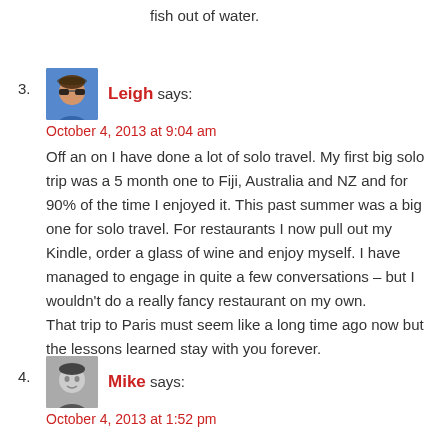fish out of water.
3. Leigh says:
October 4, 2013 at 9:04 am
Off an on I have done a lot of solo travel. My first big solo trip was a 5 month one to Fiji, Australia and NZ and for 90% of the time I enjoyed it. This past summer was a big one for solo travel. For restaurants I now pull out my Kindle, order a glass of wine and enjoy myself. I have managed to engage in quite a few conversations – but I wouldn't do a really fancy restaurant on my own.
That trip to Paris must seem like a long time ago now but the lessons learned stay with you forever.
4. Mike says:
October 4, 2013 at 1:52 pm